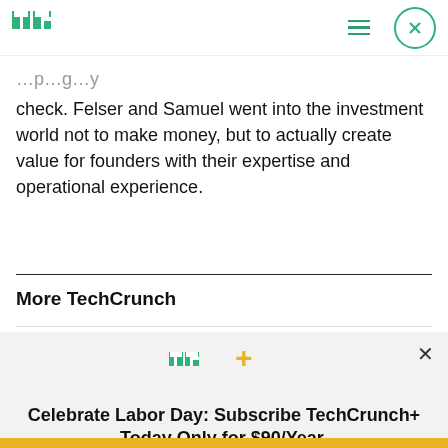TechCrunch
check. Felser and Samuel went into the investment world not to make money, but to actually create value for founders with their expertise and operational experience.
More TechCrunch
[Figure (infographic): TechCrunch+ subscription popup banner with TC+ logo, headline 'Celebrate Labor Day: Subscribe TechCrunch+ Today Only for $90/Year.' and a yellow 'GET OFFER NOW' button.]